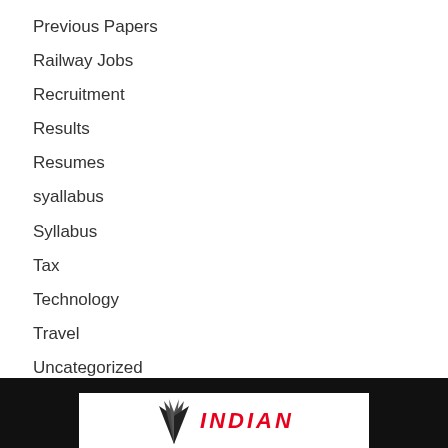Previous Papers
Railway Jobs
Recruitment
Results
Resumes
syallabus
Syllabus
Tax
Technology
Travel
Uncategorized
[Figure (logo): Indian logo with bird icon and red text reading INDIAN in italic font, on white background within black footer bar]